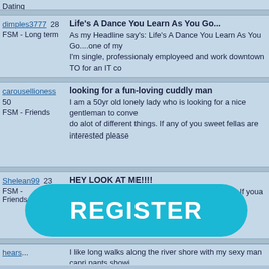Dating
dimples3777 28 — Life's A Dance You Learn As You Go... — FSM - Long term — As my Headline say's: Life's A Dance You Learn As You Go....one of my ... I'm single, professionaly employeed and work downtown TO for an IT co... Ontario
carousellioness 50 — looking for a fun-loving cuddly man — FSM - Friends — I am a 50yr old lonely lady who is looking for a nice gentleman to conve... do alot of different things. If any of you sweet fellas are interested please...
Shelean99 23 — HEY LOOK AT ME!!!! — FSM - Friends — I am looking just to make new friends off of here. If youa re wanting more th... great guy who, I care about with all of my heart. Windsor, Aiken,N.Augusta...
[Figure (infographic): REGISTER button - large teal rounded rectangle with white bold text]
hears... — I like long walks along the river shore with my sexy man capri pants showi...